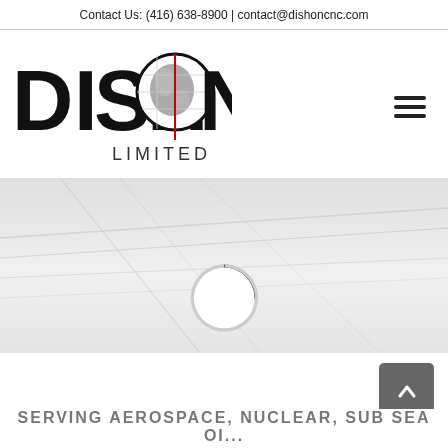Contact Us: (416) 638-8900 | contact@dishoncnc.com
[Figure (logo): Dishon Limited logo with globe graphic and red crosshair line, black bold letters DISHON with globe replacing the O, and LIMITED below]
[Figure (photo): Hero background image of machined metal parts, light gray tones, with a loading spinner overlay in the center]
[Figure (other): Scroll-to-top button, dark gray rounded square with upward chevron arrow]
SERVING AEROSPACE, NUCLEAR, SUB SEA OI...